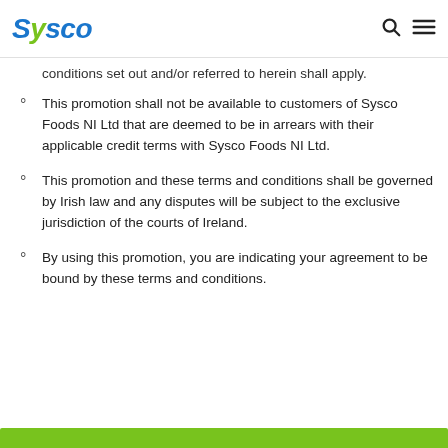Sysco
conditions set out and/or referred to herein shall apply.
This promotion shall not be available to customers of Sysco Foods NI Ltd that are deemed to be in arrears with their applicable credit terms with Sysco Foods NI Ltd.
This promotion and these terms and conditions shall be governed by Irish law and any disputes will be subject to the exclusive jurisdiction of the courts of Ireland.
By using this promotion, you are indicating your agreement to be bound by these terms and conditions.